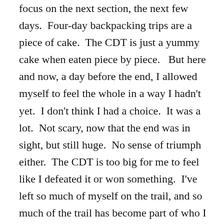focus on the next section, the next few days.  Four-day backpacking trips are a piece of cake.  The CDT is just a yummy cake when eaten piece by piece.   But here and now, a day before the end, I allowed myself to feel the whole in a way I hadn't yet.  I don't think I had a choice.  It was a lot.  Not scary, now that the end was in sight, but still huge.  No sense of triumph either.  The CDT is too big for me to feel like I defeated it or won something.  I've left so much of myself on the trail, and so much of the trail has become part of who I am.  I have coexisted with the CDT and only made it this far because the environments of the trail have allowed me to.  Without the CDT, I don't hike from Canada to Mexico.  I don't even think about it.  I needed it.  I need